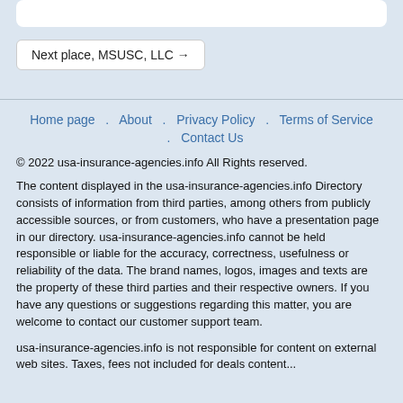Next place, MSUSC, LLC →
Home page . About . Privacy Policy . Terms of Service . Contact Us
© 2022 usa-insurance-agencies.info All Rights reserved.
The content displayed in the usa-insurance-agencies.info Directory consists of information from third parties, among others from publicly accessible sources, or from customers, who have a presentation page in our directory. usa-insurance-agencies.info cannot be held responsible or liable for the accuracy, correctness, usefulness or reliability of the data. The brand names, logos, images and texts are the property of these third parties and their respective owners. If you have any questions or suggestions regarding this matter, you are welcome to contact our customer support team.
usa-insurance-agencies.info is not responsible for content on external web sites. Taxes, fees not included for deals content...